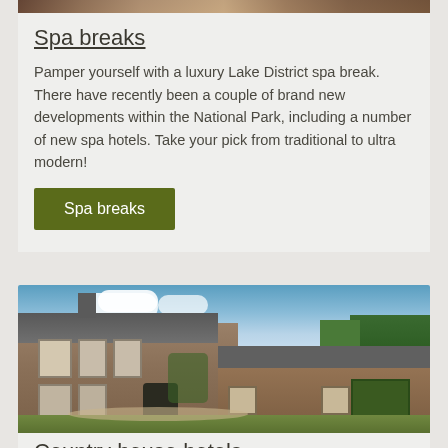[Figure (photo): Cropped top portion of an image visible at the very top of the page]
Spa breaks
Pamper yourself with a luxury Lake District spa break. There have recently been a couple of brand new developments within the National Park, including a number of new spa hotels. Take your pick from traditional to ultra modern!
Spa breaks
[Figure (photo): Exterior photograph of a rustic stone country house / hotel with multiple buildings around a courtyard, green trees in background, blue sky with clouds]
Country house hotels